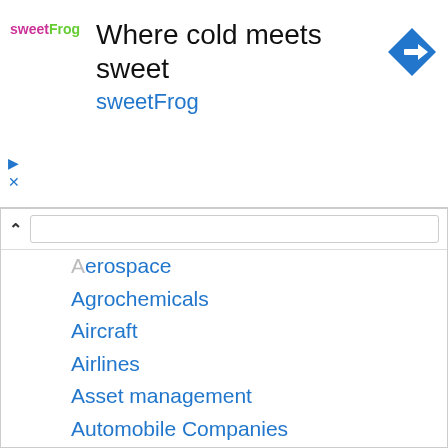[Figure (infographic): SweetFrog advertisement banner: logo on left, headline 'Where cold meets sweet', subheading 'sweetFrog', blue diamond navigation arrow on right]
Aerospace
Agrochemicals
Aircraft
Airlines
Asset management
Automobile Companies
Automobiles
Automotive
Banks
Beverages
Biopharmaceutical